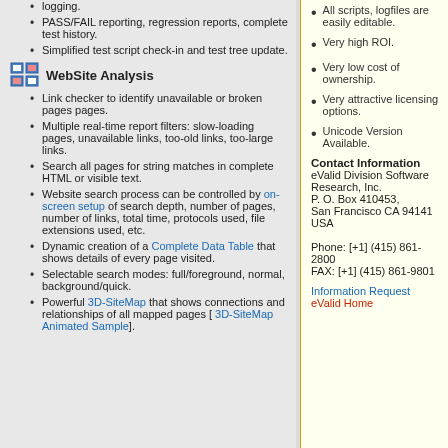logging.
PASS/FAIL reporting, regression reports, complete test history.
Simplified test script check-in and test tree update.
WebSite Analysis
Link checker to identify unavailable or broken pages pages.
Multiple real-time report filters: slow-loading pages, unavailable links, too-old links, too-large links.
Search all pages for string matches in complete HTML or visible text.
Website search process can be controlled by on-screen setup of search depth, number of pages, number of links, total time, protocols used, file extensions used, etc.
Dynamic creation of a Complete Data Table that shows details of every page visited.
Selectable search modes: full/foreground, normal, background/quick.
Powerful 3D-SiteMap that shows connections and relationships of all mapped pages [ 3D-SiteMap Animated Sample].
All scripts, logfiles are easily editable.
Very high ROI.
Very low cost of ownership.
Very attractive licensing options.
Unicode Version Available.
Contact Information eValid Division Software Research, Inc. P. O. Box 410453, San Francisco CA 94141 USA Phone: [+1] (415) 861-2800 FAX: [+1] (415) 861-9801
Information Request
eValid Home